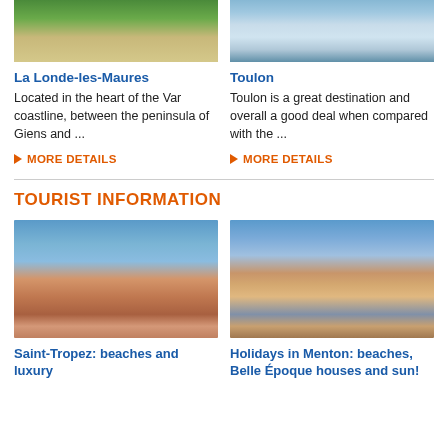[Figure (photo): Aerial or elevated view of La Londe-les-Maures beach and coastline with trees]
[Figure (photo): Aerial view of Toulon marina with many sailboats docked]
La Londe-les-Maures
Located in the heart of the Var coastline, between the peninsula of Giens and ...
▶ MORE DETAILS
Toulon
Toulon is a great destination and overall a good deal when compared with the ...
▶ MORE DETAILS
TOURIST INFORMATION
[Figure (photo): Saint-Tropez rooftops with church tower and bay in background]
[Figure (photo): Menton colorful buildings and harbor with boats]
Saint-Tropez: beaches and luxury
Holidays in Menton: beaches, Belle Époque houses and sun!